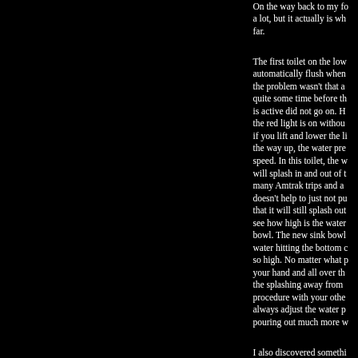On the way back to my fo a lot, but it actually is wh far.
The first toilet on the low automatically flush when the problem wasn't that a quite some time before th is active did not go on. H the red light is on withou if you lift and lower the li the way up, the water pre speed. In this toilet, the w will splash in and out of t many Amtrak trips and a doesn't help to just not pu that it will still splash out see how high is the water bowl. The new sink bowl water hitting the bottom c so high. No matter what p your hand and all over th the splashing away from procedure with your othe always adjust the water p pouring out much more w
I also discovered somethi in one sink and be fine in